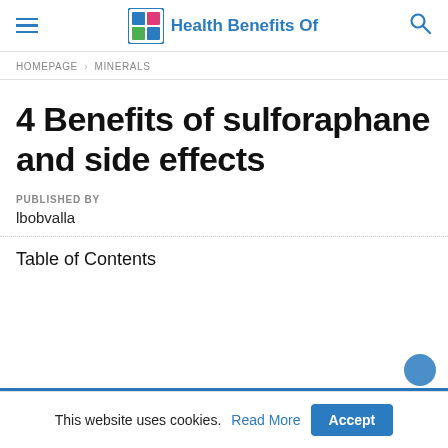Health Benefits Of
HOMEPAGE > MINERALS
4 Benefits of sulforaphane and side effects
PUBLISHED BY
lbobvalla
Table of Contents
This website uses cookies. Read More Accept